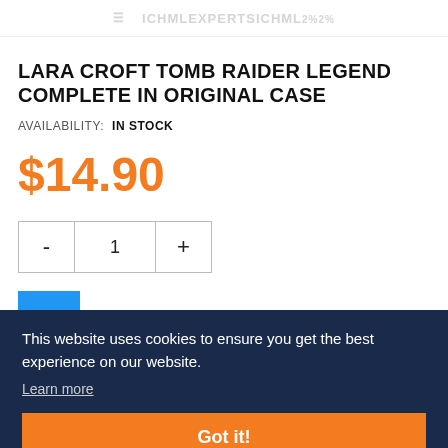ICHMLEXPERTS ICHML2%2%
LARA CROFT TOMB RAIDER LEGEND COMPLETE IN ORIGINAL CASE
AVAILABILITY: IN STOCK
$14.90
- 1 +
[Figure (screenshot): Blue Add to Cart button partially visible on left]
Other people want this. 19 people have this in their carts right now.
ASK ABOUT THIS PRODUCT
SHIPPING & RETURN
This website uses cookies to ensure you get the best experience on our website.
Learn more
Got it!